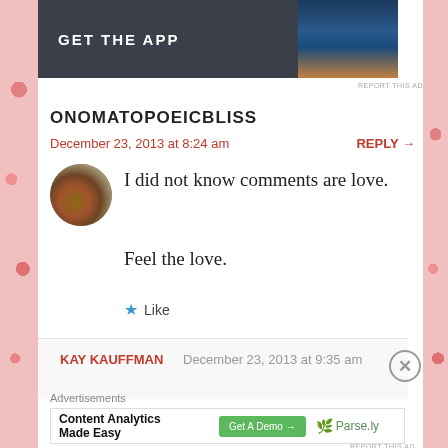[Figure (screenshot): Top advertisement banner with dark background, text GET THE APP and a tree image]
REPORT THIS AD
ONOMATOPOEICBLISS
December 23, 2013 at 8:24 am
REPLY →
[Figure (photo): Circular avatar photo of an animal (deer/dog)]
I did not know comments are love.
Feel the love.
★ Like
KAY KAUFFMAN   December 23, 2013 at 9:35 am
Advertisements
[Figure (screenshot): Bottom advertisement for Content Analytics Made Easy with Get A Demo button and Parse.ly logo]
REPORT THIS AD